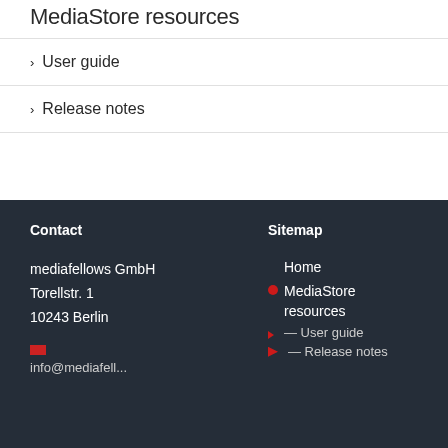MediaStore resources
User guide
Release notes
Contact
mediafellows GmbH
Torellstr. 1
10243 Berlin
info@mediafell...
Sitemap
Home
MediaStore resources
— User guide
— Release notes